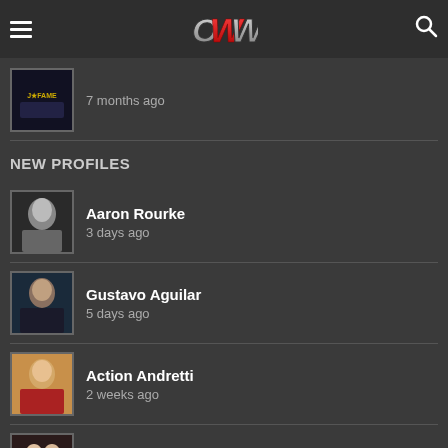OWW navigation header with hamburger menu, OWW logo, and search icon
7 months ago
NEW PROFILES
Aaron Rourke — 3 days ago
Gustavo Aguilar — 5 days ago
Action Andretti — 2 weeks ago
Kerry Morton — 4 weeks ago